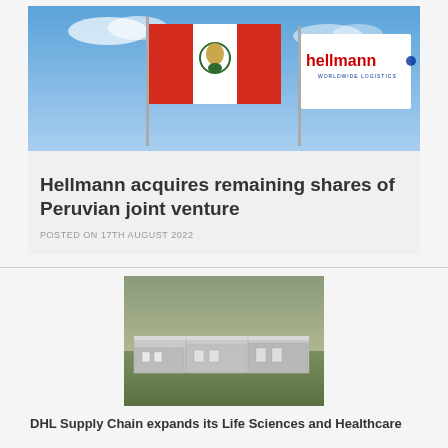[Figure (photo): Peruvian flag and Hellmann Worldwide Logistics flag against a blue sky]
Hellmann acquires remaining shares of Peruvian joint venture
POSTED ON 17TH AUGUST 2022
[Figure (photo): Aerial view of a large warehouse facility, DHL Supply Chain]
DHL Supply Chain expands its Life Sciences and Healthcare